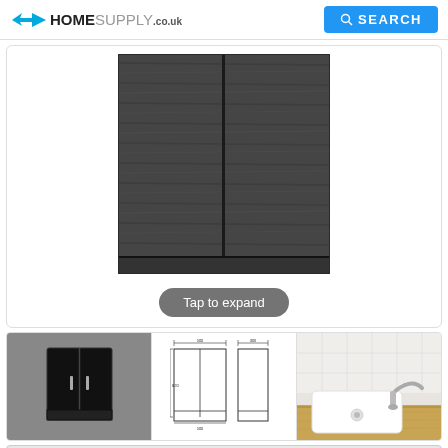[Figure (logo): HomeSupply.co.uk logo with blue arrow icon]
SEARCH
[Figure (photo): Large product image: dark wood-effect bathroom cabinet with two doors and bottom panel, shown front view on white background]
Tap to expand
[Figure (photo): Thumbnail 1: Dark bathroom floor cabinet on grey background, two doors with chrome handles]
[Figure (engineering-diagram): Thumbnail 2: Technical line drawing/dimension diagram of bathroom cabinet showing front and side elevation views with measurements]
[Figure (photo): Thumbnail 3: Lifestyle photo of white rectangular sink basin on wooden countertop with chrome tap, white tile background]
Save 34% off retail price!